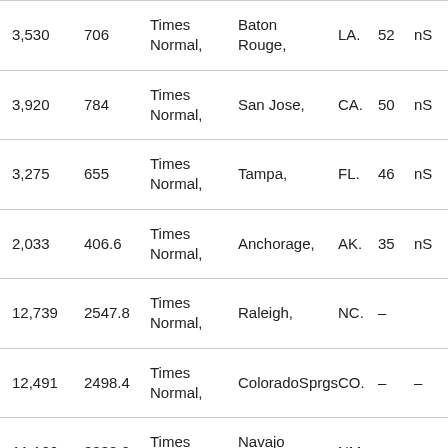| 3,530 | 706 | Times Normal, | Baton Rouge, | LA. | 52 | nS |
| 3,920 | 784 | Times Normal, | San Jose, | CA. | 50 | nS |
| 3,275 | 655 | Times Normal, | Tampa, | FL. | 46 | nS |
| 2,033 | 406.6 | Times Normal, | Anchorage, | AK. | 35 | nS |
| 12,739 | 2547.8 | Times Normal, | Raleigh, | NC. | – |  |
| 12,491 | 2498.4 | Times Normal, | ColoradoSprgs | CO. | – | – |
| 11,166 | 2233.2 | Times Normal, | Navajo Lake, | NM. | – |  |